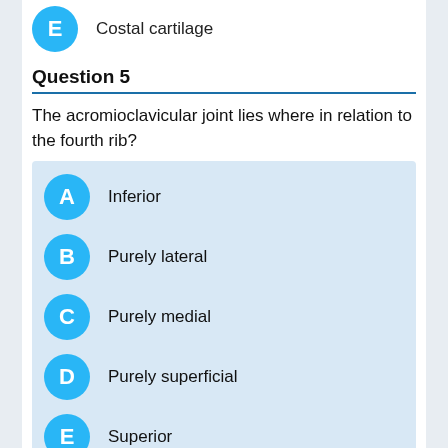E  Costal cartilage
Question 5
The acromioclavicular joint lies where in relation to the fourth rib?
A  Inferior
B  Purely lateral
C  Purely medial
D  Purely superficial
E  Superior
Question 6
The head of the humerus articulates with